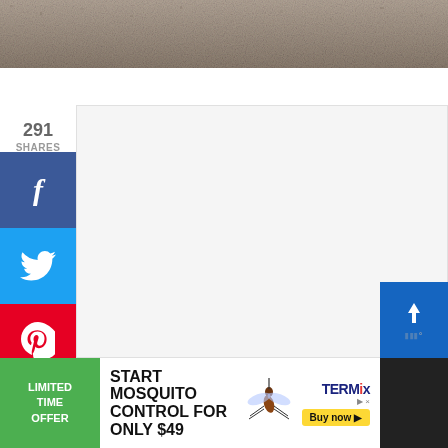[Figure (photo): Close-up photo of brown/beige carpet texture filling the top of the page]
291
SHARES
[Figure (infographic): Social share sidebar with Facebook (blue), Twitter (light blue), and Pinterest (red) buttons]
[Figure (photo): Large white/light gray content area placeholder]
[Figure (infographic): Advertisement banner: green 'LIMITED TIME OFFER' label, 'START MOSQUITO CONTROL FOR ONLY $49' text with mosquito image, TERMIX logo and 'Buy now' button]
[Figure (infographic): Blue corner button with share/upload icon in bottom right]